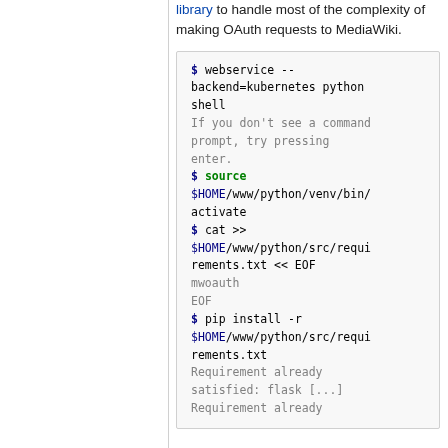library to handle most of the complexity of making OAuth requests to MediaWiki.
$ webservice --backend=kubernetes python shell
If you don't see a command prompt, try pressing enter.
$ source $HOME/www/python/venv/bin/activate
$ cat >> $HOME/www/python/src/requirements.txt << EOF
mwoauth
EOF
$ pip install -r $HOME/www/python/src/requirements.txt
Requirement already satisfied: flask [...]
Requirement already